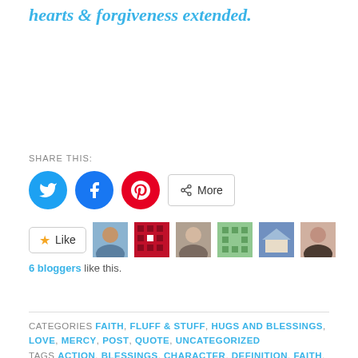hearts & forgiveness extended.
SHARE THIS:
[Figure (infographic): Social share buttons: Twitter (blue circle), Facebook (blue circle), Pinterest (red circle), and a More button. Below: a Like button with star icon, followed by 6 blogger avatar thumbnails.]
6 bloggers like this.
CATEGORIES FAITH, FLUFF & STUFF, HUGS AND BLESSINGS, LOVE, MERCY, POST, QUOTE, UNCATEGORIZED
TAGS ACTION, BLESSINGS, CHARACTER, DEFINITION, FAITH, FORGIVENESS, GOD, HOPE, HUGS, LOVE